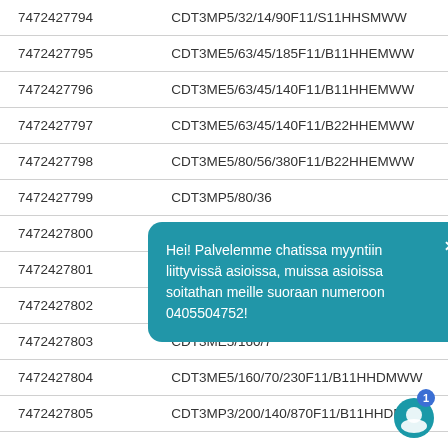| 7472427794 | CDT3MP5/32/14/90F11/S11HHSMWW |
| 7472427795 | CDT3ME5/63/45/185F11/B11HHEMWW |
| 7472427796 | CDT3ME5/63/45/140F11/B11HHEMWW |
| 7472427797 | CDT3ME5/63/45/140F11/B22HHEMWW |
| 7472427798 | CDT3ME5/80/56/380F11/B22HHEMWW |
| 7472427799 | CDT3MP5/80/36... |
| 7472427800 | CDT3MT4/63/28... |
| 7472427801 | CDT3MT1/100/7... |
| 7472427802 | CDT3MP3/125/5... |
| 7472427803 | CDT3ME5/160/7... |
| 7472427804 | CDT3ME5/160/70/230F11/B11HHDMWW |
| 7472427805 | CDT3MP3/200/140/870F11/B11HHDMWW |
Hei! Palvelemme chatissa myyntiin liittyvissä asioissa, muissa asioissa soitathan meille suoraan numeroon 0405504752!